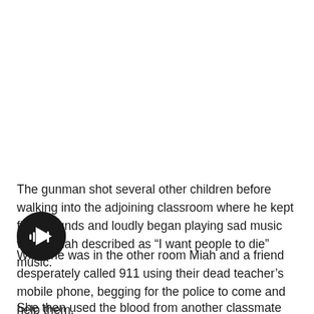The gunman shot several other children before walking into the adjoining classroom where he kept firing rounds and loudly began playing sad music which Miah described as “I want people to die” music.
[Figure (other): A circular black play button icon with white play/audio wave symbol inside]
While he was in the other room Miah and a friend desperately called 911 using their dead teacher’s mobile phone, begging for the police to come and help them.
She then used the blood from another classmate who had